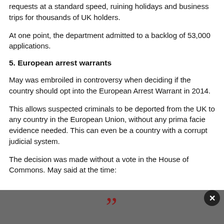requests at a standard speed, ruining holidays and business trips for thousands of UK holders.
At one point, the department admitted to a backlog of 53,000 applications.
5. European arrest warrants
May was embroiled in controversy when deciding if the country should opt into the European Arrest Warrant in 2014.
This allows suspected criminals to be deported from the UK to any country in the European Union, without any prima facie evidence needed. This can even be a country with a corrupt judicial system.
The decision was made without a vote in the House of Commons. May said at the time:
[Figure (other): Dark grey footer bar with large red closing double quotation marks and a circular close button with X]